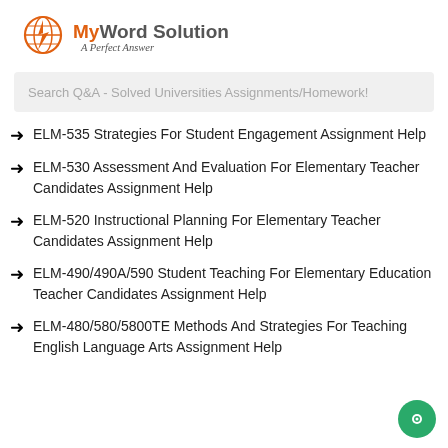[Figure (logo): MyWord Solution logo with orange lightning bolt globe icon and text 'My Word Solution - A Perfect Answer']
Search Q&A - Solved Universities Assignments/Homework!
ELM-535 Strategies For Student Engagement Assignment Help
ELM-530 Assessment And Evaluation For Elementary Teacher Candidates Assignment Help
ELM-520 Instructional Planning For Elementary Teacher Candidates Assignment Help
ELM-490/490A/590 Student Teaching For Elementary Education Teacher Candidates Assignment Help
ELM-480/580/5800TE Methods And Strategies For Teaching English Language Arts Assignment Help